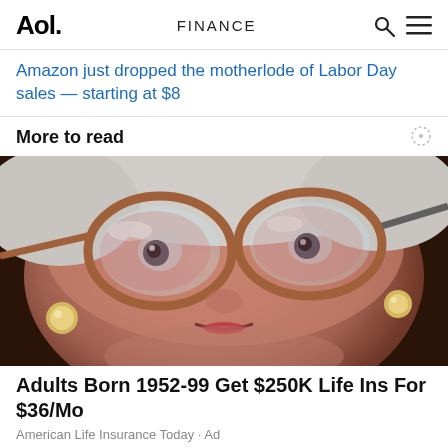Aol. FINANCE
Amazon just dropped the motherlode of Labor Day sales — starting at $8
More to read
[Figure (photo): Close-up photo of an elderly woman wearing large brown/amber glasses and pearl earrings, looking directly at the camera with her mouth slightly open.]
Adults Born 1952-99 Get $250K Life Ins For $36/Mo
American Life Insurance Today · Ad